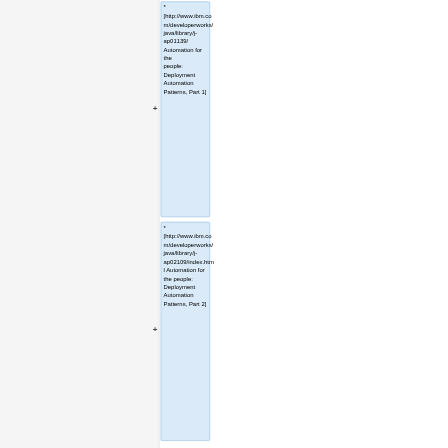* [http://www.ibm.com/developerworks/java/library/j-ap01139/ Automation for the people: Deployment Automation Patterns, Part 1]
* [http://www.ibm.com/developerworks/java/library/j-ap02109/index.html Automation for the people: Deployment Automation Patterns, Part 2]
Latest revision as of 06:18, 23 August 2015